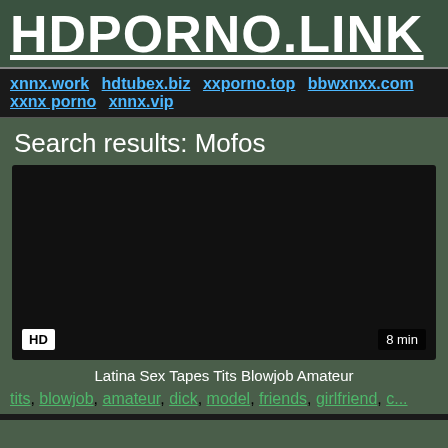HDPORNO.LINK
xnnx.work hdtubex.biz xxporno.top bbwxnxx.com xxnx porno xnnx.vip
Search results: Mofos
[Figure (screenshot): Black video thumbnail with HD badge bottom-left and 8 min duration bottom-right]
Latina Sex Tapes Tits Blowjob Amateur
tits, blowjob, amateur, dick, model, friends, girlfriend, c...